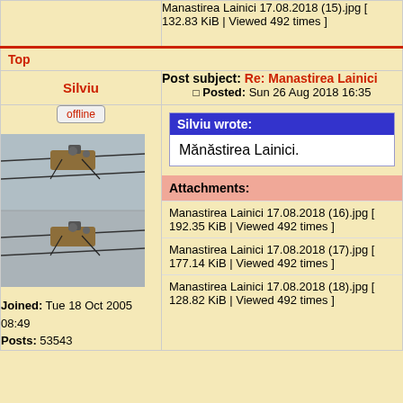Manastirea Lainici 17.08.2018 (15).jpg [ 132.83 KiB | Viewed 492 times ]
Top
Silviu
Post subject: Re: Manastirea Lainici
Posted: Sun 26 Aug 2018 16:35
offline
[Figure (photo): Photo of mechanical device on wires, shown twice stacked]
Joined: Tue 18 Oct 2005 08:49
Posts: 53543
Silviu wrote:
Mănăstirea Lainici.
Attachments:
Manastirea Lainici 17.08.2018 (16).jpg [ 192.35 KiB | Viewed 492 times ]
Manastirea Lainici 17.08.2018 (17).jpg [ 177.14 KiB | Viewed 492 times ]
Manastirea Lainici 17.08.2018 (18).jpg [ 128.82 KiB | Viewed 492 times ]